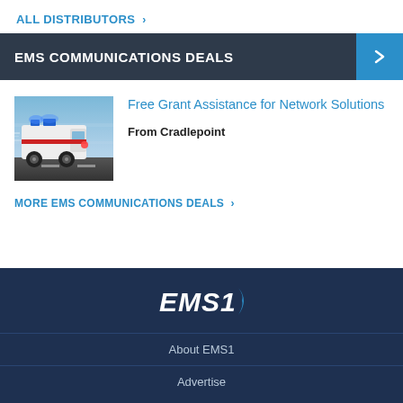ALL DISTRIBUTORS >
EMS COMMUNICATIONS DEALS
[Figure (photo): Ambulance with flashing lights driving at speed]
Free Grant Assistance for Network Solutions
From Cradlepoint
MORE EMS COMMUNICATIONS DEALS >
[Figure (logo): EMS1 logo with chevron/arrow mark]
About EMS1
Advertise